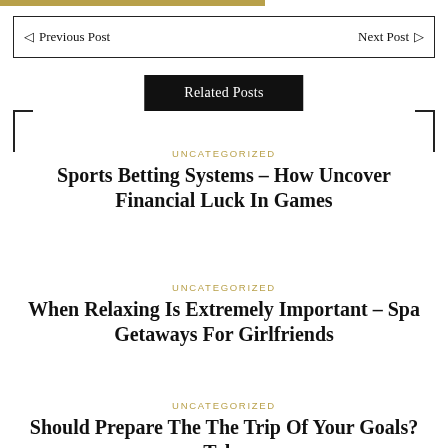Previous Post   Next Post
Related Posts
UNCATEGORIZED
Sports Betting Systems – How Uncover Financial Luck In Games
UNCATEGORIZED
When Relaxing Is Extremely Important – Spa Getaways For Girlfriends
UNCATEGORIZED
Should Prepare The The Trip Of Your Goals? Take